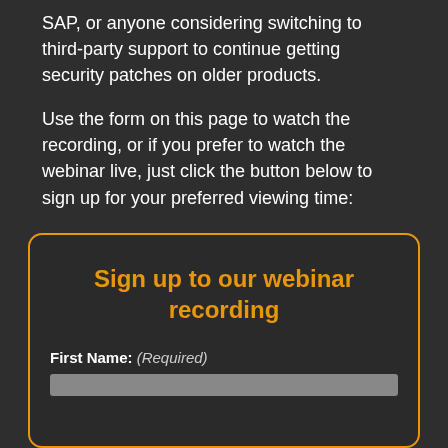SAP, or anyone considering switching to third-party support to continue getting security patches on older products.
Use the form on this page to watch the recording, or if you prefer to watch the webinar live, just click the button below to sign up for your preferred viewing time:
Sign up to the next live webinar
Sign up to our webinar recording
First Name: (Required)